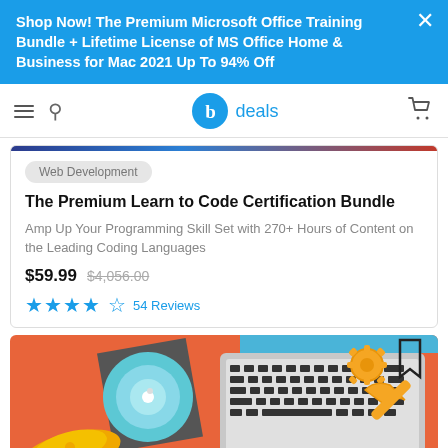Shop Now! The Premium Microsoft Office Training Bundle + Lifetime License of MS Office Home & Business for Mac 2021 Up To 94% Off
[Figure (screenshot): Navigation bar with hamburger menu, search icon, 'b deals' logo in blue, and shopping cart icon]
Web Development
The Premium Learn to Code Certification Bundle
Amp Up Your Programming Skill Set with 270+ Hours of Content on the Leading Coding Languages
$59.99  $4,056.00  ★★★★☆  54 Reviews
[Figure (illustration): Illustration showing a laptop keyboard, a hard drive with a CD, a yellow disc, gears and a wrench on a blue background — product image for a tech/coding bundle]